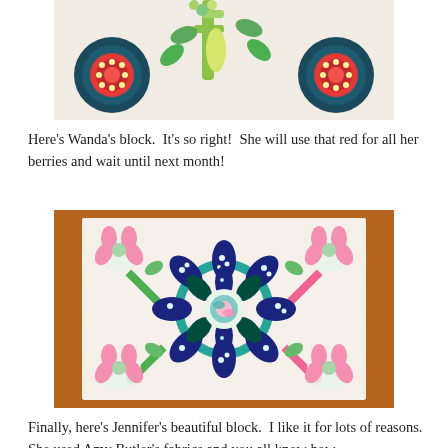[Figure (photo): Partial view of a quilt block with applique featuring dark teal/navy petals, red circular flower motifs with dotted patterns, and green leaf/vine elements on a light background.]
Here's Wanda's block.  It's so right!  She will use that red for all her berries and wait until next month!
[Figure (photo): A quilt block displayed on a wooden surface featuring a complex medallion design with navy/dark teal dotted leaf petals arranged in a circular pattern, pink floral corner motifs, green stems, and colorful patterned center pieces on a white/cream background. The fabrics appear to be Amy Butler fabrics.]
Finally, here's Jennifer's beautiful block.  I like it for lots of reasons.  She used Amy Butler's fabrics and you all know how